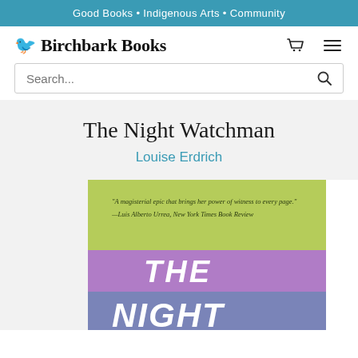Good Books • Indigenous Arts • Community
[Figure (logo): Birchbark Books logo with bird icon and store name]
Search...
The Night Watchman
Louise Erdrich
[Figure (photo): Book cover of The Night Watchman by Louise Erdrich with green, purple, and dark blue horizontal bands with title text. A New York Times banner appears on the right side.]